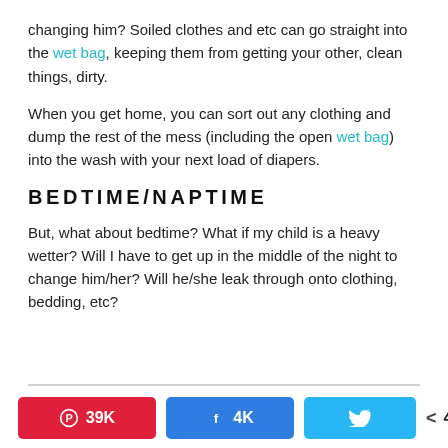changing him? Soiled clothes and etc can go straight into the wet bag, keeping them from getting your other, clean things, dirty.
When you get home, you can sort out any clothing and dump the rest of the mess (including the open wet bag) into the wash with your next load of diapers.
BEDTIME/NAPTIME
But, what about bedtime? What if my child is a heavy wetter? Will I have to get up in the middle of the night to change him/her? Will he/she leak through onto clothing, bedding, etc?
39K  4K  Twitter share  43K SHARES